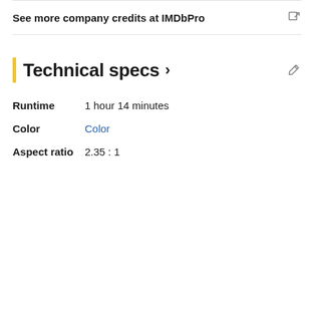See more company credits at IMDbPro
Technical specs >
Runtime   1 hour 14 minutes
Color   Color
Aspect ratio   2.35 : 1